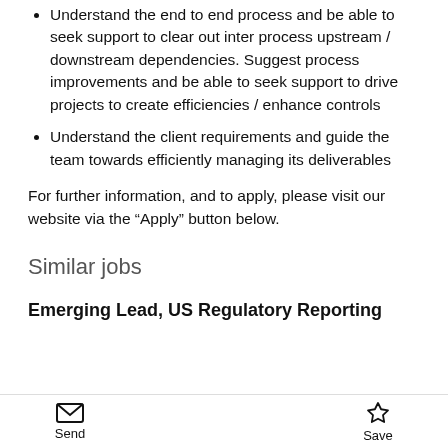Understand the end to end process and be able to seek support to clear out inter process upstream / downstream dependencies. Suggest process improvements and be able to seek support to drive projects to create efficiencies / enhance controls
Understand the client requirements and guide the team towards efficiently managing its deliverables
For further information, and to apply, please visit our website via the “Apply” button below.
Similar jobs
Emerging Lead, US Regulatory Reporting
Send   Save